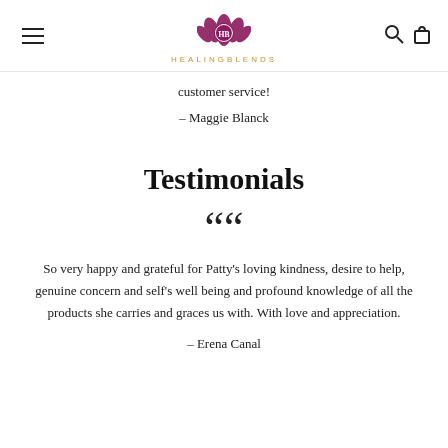HEALINGBLENDS
customer service!
— Maggie Blanck
Testimonials
““
So very happy and grateful for Patty's loving kindness, desire to help, genuine concern and self's well being and profound knowledge of all the products she carries and graces us with. With love and appreciation.
— Erena Canal